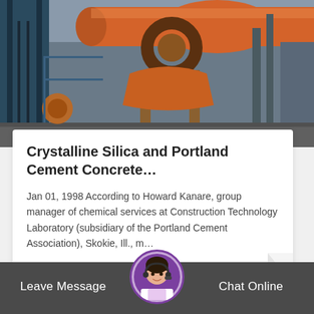[Figure (photo): Industrial rotary kiln / cement mill equipment in a factory, orange/rust colored metal cylinder on support structures]
Crystalline Silica and Portland Cement Concrete…
Jan 01, 1998 According to Howard Kanare, group manager of chemical services at Construction Technology Laboratory (subsidiary of the Portland Cement Association), Skokie, Ill., m…
Read More
[Figure (photo): Partial view of construction/industrial equipment at bottom of page]
Leave Message   Chat Online